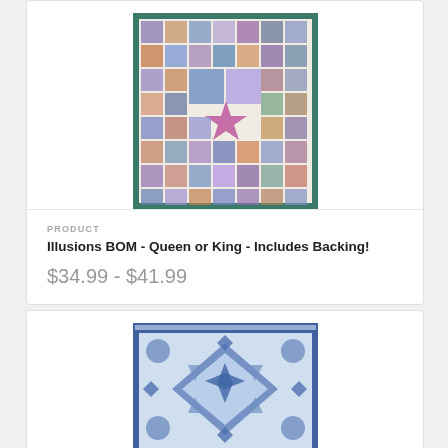[Figure (photo): Illusions BOM quilt featuring colorful patchwork blocks with various geometric patterns in blues, purples, browns, and creams with a dark teal border]
PRODUCT
Illusions BOM - Queen or King - Includes Backing!
$34.99 - $41.99
[Figure (photo): Blue and white geometric quilt with intricate star and diamond patterns in shades of blue and white batik fabric]